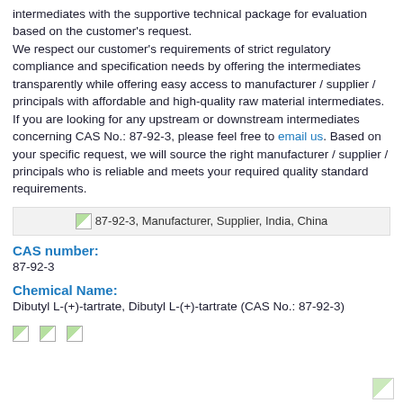intermediates with the supportive technical package for evaluation based on the customer's request.
We respect our customer's requirements of strict regulatory compliance and specification needs by offering the intermediates transparently while offering easy access to manufacturer / supplier / principals with affordable and high-quality raw material intermediates.
If you are looking for any upstream or downstream intermediates concerning CAS No.: 87-92-3, please feel free to email us. Based on your specific request, we will source the right manufacturer / supplier / principals who is reliable and meets your required quality standard requirements.
[Figure (other): Image placeholder showing '87-92-3, Manufacturer, Supplier, India, China']
CAS number:
87-92-3
Chemical Name:
Dibutyl L-(+)-tartrate, Dibutyl L-(+)-tartrate (CAS No.: 87-92-3)
[Figure (other): Three small image placeholders at the bottom of the page]